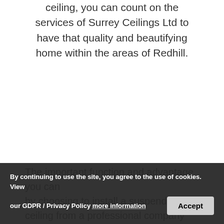ceiling, you can count on the services of Surrey Ceilings Ltd to have that quality and beautifying home within the areas of Redhill.
The important function and advantage you can by choosing to install a suspended ceiling from a professional company not only from and extreme weather condition alone but it i...
By continuing to use the site, you agree to the use of cookies. View our GDPR / Privacy Policy more information